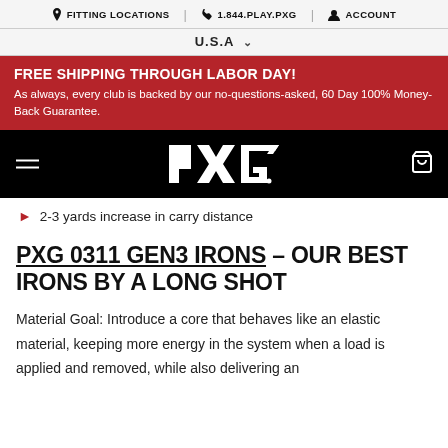FITTING LOCATIONS | 1.844.PLAY.PXG | ACCOUNT
U.S.A
FREE SHIPPING THROUGH LABOR DAY! As always, every club is backed by our no-questions-asked, 60 Day 100% Money-Back Guarantee.
[Figure (logo): PXG logo in white on black background with hamburger menu and cart icon]
2-3 yards increase in carry distance
PXG 0311 GEN3 IRONS – OUR BEST IRONS BY A LONG SHOT
Material Goal: Introduce a core that behaves like an elastic material, keeping more energy in the system when a load is applied and removed, while also delivering an